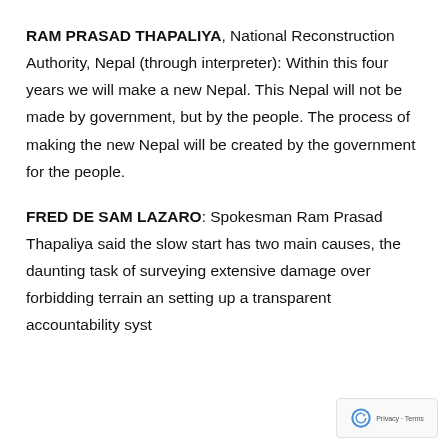RAM PRASAD THAPALIYA, National Reconstruction Authority, Nepal (through interpreter): Within this four years we will make a new Nepal. This Nepal will not be made by government, but by the people. The process of making the new Nepal will be created by the government for the people.
FRED DE SAM LAZARO: Spokesman Ram Prasad Thapaliya said the slow start has two main causes, the daunting task of surveying extensive damage over forbidding terrain and setting up a transparent accountability syst...